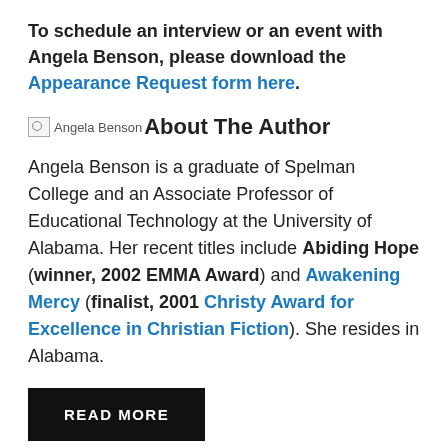To schedule an interview or an event with Angela Benson, please download the Appearance Request form here.
About The Author
Angela Benson is a graduate of Spelman College and an Associate Professor of Educational Technology at the University of Alabama. Her recent titles include Abiding Hope (winner, 2002 EMMA Award) and Awakening Mercy (finalist, 2001 Christy Award for Excellence in Christian Fiction). She resides in Alabama.
READ MORE
Abiding Hope